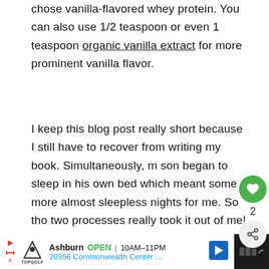chose vanilla-flavored whey protein. You can also use 1/2 teaspoon or even 1 teaspoon organic vanilla extract for more prominent vanilla flavor.
I keep this blog post really short because I still have to recover from writing my book. Simultaneously, my son began to sleep in his own bed which meant some more almost sleepless nights for me. So those two processes really took it out of me! Hope you understand.
[Figure (screenshot): Advertisement bar: Topgolf Ashburn OPEN 10AM-11PM, 20356 Commonwealth Center...]